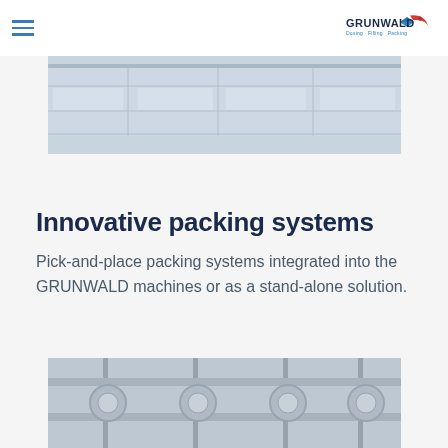GRUNWALD – Dosing · Filling · Packing
[Figure (photo): Industrial packing machinery components, light grey metal trays/conveyors viewed from above]
Innovative packing systems
Pick-and-place packing systems integrated into the GRUNWALD machines or as a stand-alone solution.
[Figure (photo): Close-up of industrial packing machine mechanical components, grey metal parts and rails]